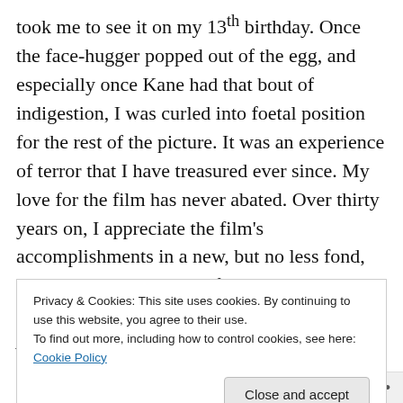took me to see it on my 13th birthday. Once the face-hugger popped out of the egg, and especially once Kane had that bout of indigestion, I was curled into foetal position for the rest of the picture. It was an experience of terror that I have treasured ever since. My love for the film has never abated. Over thirty years on, I appreciate the film's accomplishments in a new, but no less fond, light. Earlier this spring, for example, as I was teaching a course on remakes and sequels, Aliens was one of the films we looked at. And much as I love Cameron's film, too, I was struck by how some of its special effects are showing their
Privacy & Cookies: This site uses cookies. By continuing to use this website, you agree to their use. To find out more, including how to control cookies, see here: Cookie Policy
Close and accept
Follow